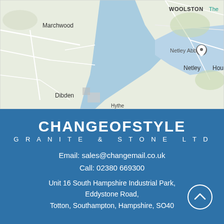[Figure (map): Google Maps style map showing Marchwood, Dibden, Woolston, Netley Abbey, Netley, and surrounding areas near Southampton Water estuary]
CHANGEOFSTYLE GRANITE & STONE LTD
Email: sales@changemail.co.uk
Call: 02380 669300
Unit 16 South Hampshire Industrial Park, Eddystone Road, Totton, Southampton, Hampshire, SO40